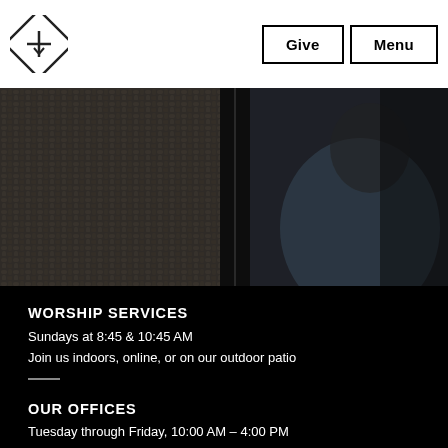Give | Menu
[Figure (photo): Dark photograph showing people from behind, one in a knit sweater on the left and one in a blue shirt on the right, in a dimly lit indoor setting.]
WORSHIP SERVICES
Sundays at 8:45 & 10:45 AM
Join us indoors, online, or on our outdoor patio
32382 Del Obispo Street
San Juan Capistrano, CA 92675
OUR OFFICES
Tuesday through Friday, 10:00 AM – 4:00 PM